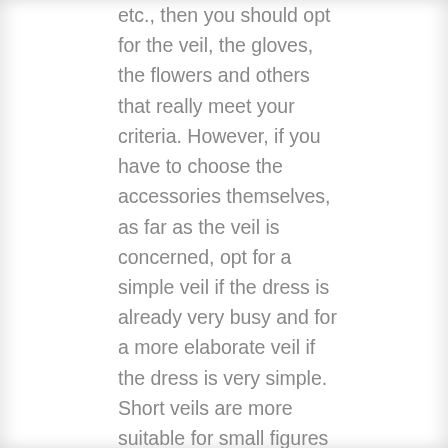etc., then you should opt for the veil, the gloves, the flowers and others that really meet your criteria. However, if you have to choose the accessories themselves, as far as the veil is concerned, opt for a simple veil if the dress is already very busy and for a more elaborate veil if the dress is very simple. Short veils are more suitable for small figures and long ones give